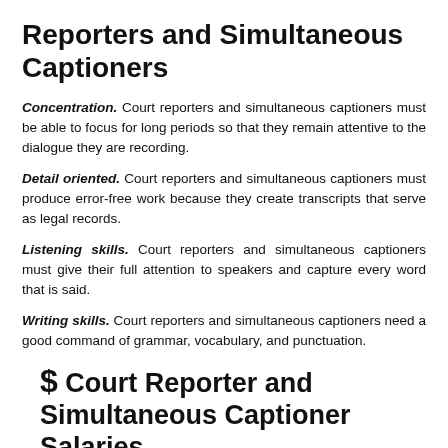Reporters and Simultaneous Captioners
Concentration. Court reporters and simultaneous captioners must be able to focus for long periods so that they remain attentive to the dialogue they are recording.
Detail oriented. Court reporters and simultaneous captioners must produce error-free work because they create transcripts that serve as legal records.
Listening skills. Court reporters and simultaneous captioners must give their full attention to speakers and capture every word that is said.
Writing skills. Court reporters and simultaneous captioners need a good command of grammar, vocabulary, and punctuation.
$ Court Reporter and Simultaneous Captioner Salaries